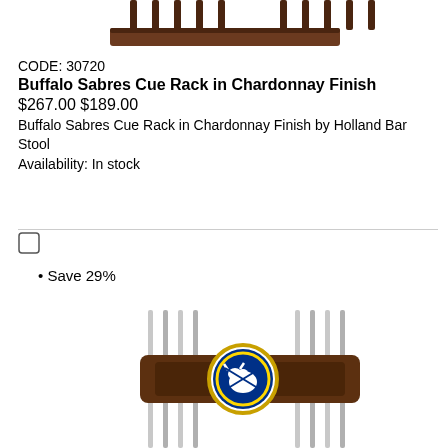[Figure (photo): Top portion of a Buffalo Sabres Cue Rack in Chardonnay Finish showing the top rail with cue slots]
CODE: 30720
Buffalo Sabres Cue Rack in Chardonnay Finish
$267.00 $189.00
Buffalo Sabres Cue Rack in Chardonnay Finish by Holland Bar Stool
Availability: In stock
[Figure (other): Checkbox (unchecked square)]
Save 29%
[Figure (photo): Buffalo Sabres Cue Rack in Chardonnay Finish showing the middle section with the Buffalo Sabres logo medallion and pool cue slots]